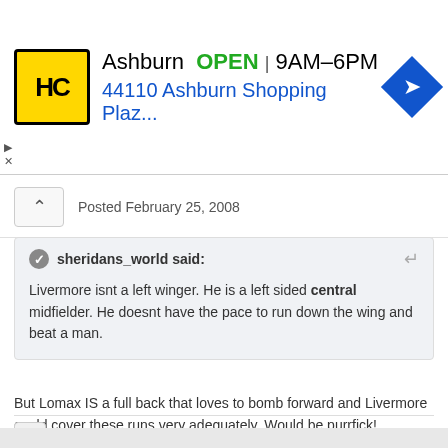[Figure (advertisement): HC logo ad banner: Ashburn OPEN 9AM-6PM, 44110 Ashburn Shopping Plaz..., with navigation arrow icon]
Posted February 25, 2008
sheridans_world said:
Livermore isnt a left winger. He is a left sided central midfielder. He doesnt have the pace to run down the wing and beat a man.
But Lomax IS a full back that loves to bomb forward and Livermore could cover these runs very adequately. Would be purrfick!
Quote